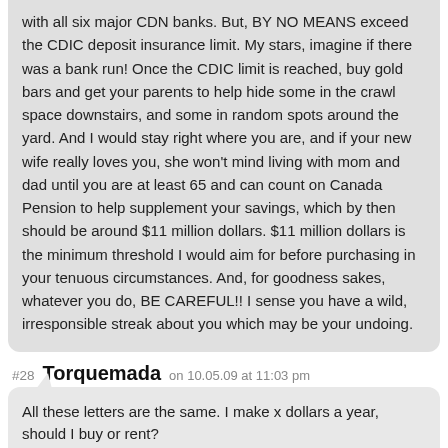with all six major CDN banks. But, BY NO MEANS exceed the CDIC deposit insurance limit. My stars, imagine if there was a bank run! Once the CDIC limit is reached, buy gold bars and get your parents to help hide some in the crawl space downstairs, and some in random spots around the yard. And I would stay right where you are, and if your new wife really loves you, she won't mind living with mom and dad until you are at least 65 and can count on Canada Pension to help supplement your savings, which by then should be around $11 million dollars. $11 million dollars is the minimum threshold I would aim for before purchasing in your tenuous circumstances. And, for goodness sakes, whatever you do, BE CAREFUL!! I sense you have a wild, irresponsible streak about you which may be your undoing.
#28 Torquemada on 10.05.09 at 11:03 pm
All these letters are the same. I make x dollars a year, should I buy or rent?

It doesn't matter whether x=15,000 a year or 150k a year. RENT!

Why would anyone borrow money to buy a depreciating asset?